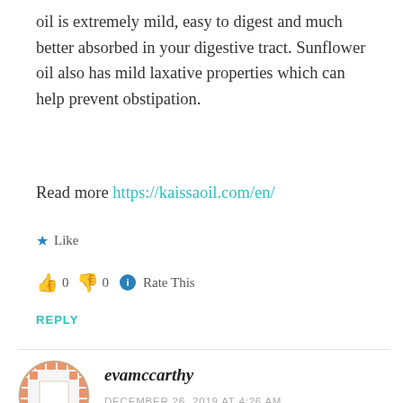oil is extremely mild, easy to digest and much better absorbed in your digestive tract. Sunflower oil also has mild laxative properties which can help prevent obstipation.
Read more https://kaissaoil.com/en/
★ Like
👍 0 👎 0 ℹ Rate This
REPLY
evamccarthy
DECEMBER 26, 2019 AT 4:26 AM